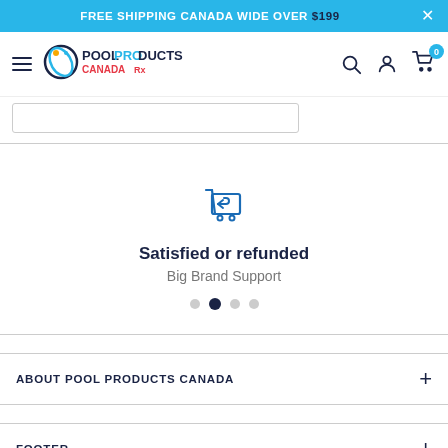FREE SHIPPING CANADA WIDE OVER $199
[Figure (logo): Pool Products Canada logo with circular water droplet icon and text 'POOL PRODUCTS CANADA Rx']
[Figure (illustration): Return/refund shopping cart icon in dark navy blue]
Satisfied or refunded
Big Brand Support
ABOUT POOL PRODUCTS CANADA
FOOTER